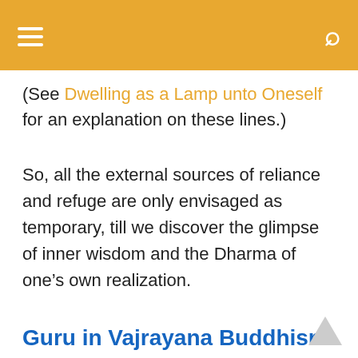≡  🔍
(See Dwelling as a Lamp unto Oneself for an explanation on these lines.)
So, all the external sources of reliance and refuge are only envisaged as temporary, till we discover the glimpse of inner wisdom and the Dharma of one's own realization.
Guru in Vajrayana Buddhism